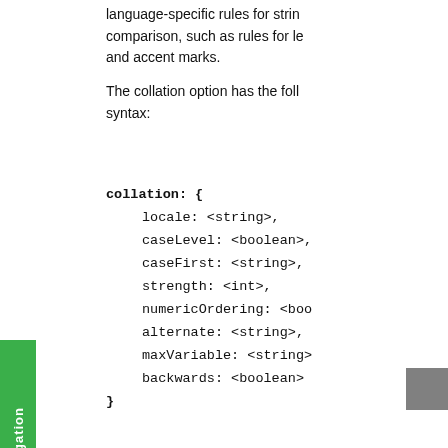language-specific rules for string comparison, such as rules for le and accent marks.
The collation option has the following syntax:
collation: {
   locale: <string>,
   caseLevel: <boolean>,
   caseFirst: <string>,
   strength: <int>,
   numericOrdering: <boo
   alternate: <string>,
   maxVariable: <string>
   backwards: <boolean>
}